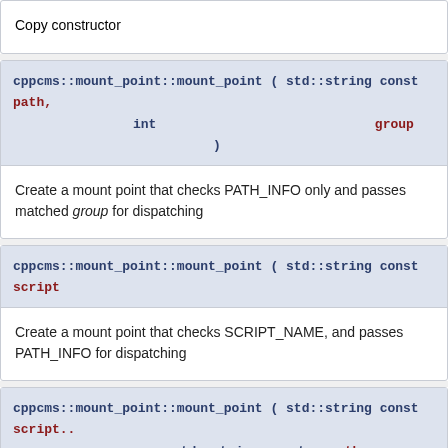Copy constructor
cppcms::mount_point::mount_point ( std::string const &  path, int  group )
Create a mount point that checks PATH_INFO only and passes matched group for dispatching
cppcms::mount_point::mount_point ( std::string const &  script...
Create a mount point that checks SCRIPT_NAME, and passes PATH_INFO for dispatching
cppcms::mount_point::mount_point ( std::string const &  script... std::string const &  path,